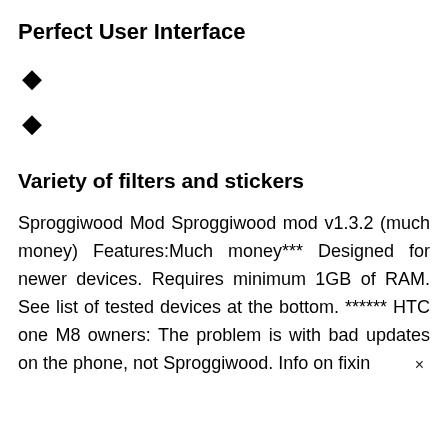Perfect User Interface
◆
◆
Variety of filters and stickers
Sproggiwood Mod Sproggiwood mod v1.3.2 (much money) Features:Much money*** Designed for newer devices. Requires minimum 1GB of RAM. See list of tested devices at the bottom. ****** HTC one M8 owners: The problem is with bad updates on the phone, not Sproggiwood. Info on fixin